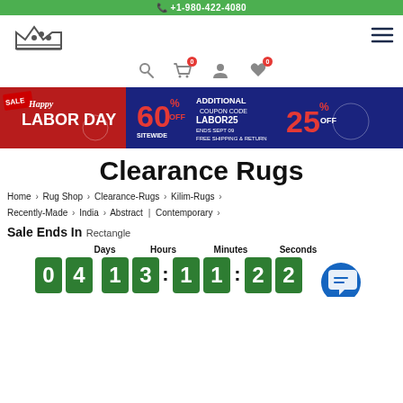📞 +1-980-422-4080
[Figure (logo): Rug Source logo with crown icon and red text]
[Figure (illustration): Happy Labor Day sale banner: 60% off sitewide, additional 25% off with coupon LABOR25]
Clearance Rugs
Home > Rug Shop > Clearance-Rugs > Kilim-Rugs > Recently-Made > India > Abstract | Contemporary >
Sale Ends In Rectangle
Days: 04  Hours: 13  Minutes: 11  Seconds: 22